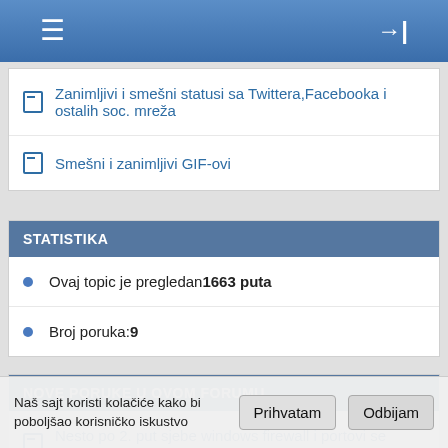Navigation bar with hamburger menu and login icon
Zanimljivi i smešni statusi sa Twittera,Facebooka i ostalih soc. mreža
Smešni i zanimljivi GIF-ovi
STATISTIKA
Ovaj topic je pregledan 1663 puta
Broj poruka: 9
NOVE PORUKE U OVOM FORUMU
Nesto po 2. put sjebe windows firewall i portovi se zatvore
Naš sajt koristi kolačiće kako bi poboljšao korisničko iskustvo
Prihvatam
Odbijam